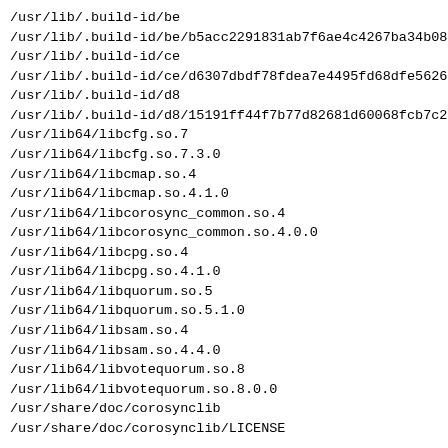/usr/lib/.build-id/be
/usr/lib/.build-id/be/b5acc2291831ab7f6ae4c4267ba34b08d15
/usr/lib/.build-id/ce
/usr/lib/.build-id/ce/d6307dbdf78fdea7e4495fd68dfe5626b8
/usr/lib/.build-id/d8
/usr/lib/.build-id/d8/15191ff44f7b77d82681d60068fcb7c2384
/usr/lib64/libcfg.so.7
/usr/lib64/libcfg.so.7.3.0
/usr/lib64/libcmap.so.4
/usr/lib64/libcmap.so.4.1.0
/usr/lib64/libcorosync_common.so.4
/usr/lib64/libcorosync_common.so.4.0.0
/usr/lib64/libcpg.so.4
/usr/lib64/libcpg.so.4.1.0
/usr/lib64/libquorum.so.5
/usr/lib64/libquorum.so.5.1.0
/usr/lib64/libsam.so.4
/usr/lib64/libsam.so.4.4.0
/usr/lib64/libvotequorum.so.8
/usr/lib64/libvotequorum.so.8.0.0
/usr/share/doc/corosynclib
/usr/share/doc/corosynclib/LICENSE
Generated by rpm2html 1.8.1
Fabrice Bellet, Thu Aug 25 01:36:03 2022